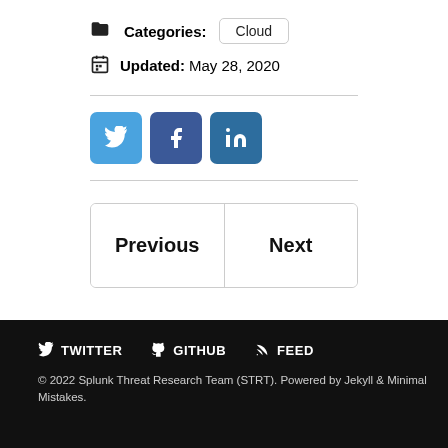Categories: Cloud
Updated: May 28, 2020
[Figure (other): Social share buttons: Twitter, Facebook, LinkedIn]
Previous | Next navigation
TWITTER  GITHUB  FEED
© 2022 Splunk Threat Research Team (STRT). Powered by Jekyll & Minimal Mistakes.